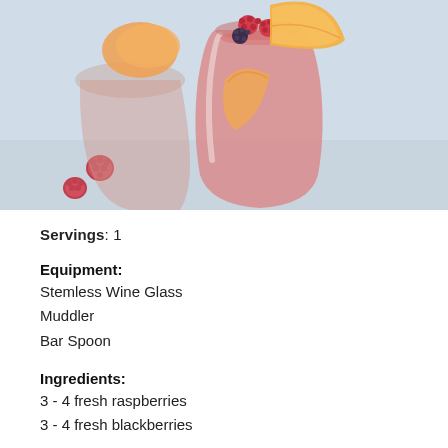[Figure (photo): A stemless wine glass filled with a pink/salmon colored drink, garnished with fresh raspberries, blackberries, and a peach slice. Additional raspberries scattered on a light blue surface beside the glass.]
Servings: 1
Equipment:
Stemless Wine Glass
Muddler
Bar Spoon
Ingredients:
3 - 4 fresh raspberries
3 - 4 fresh blackberries